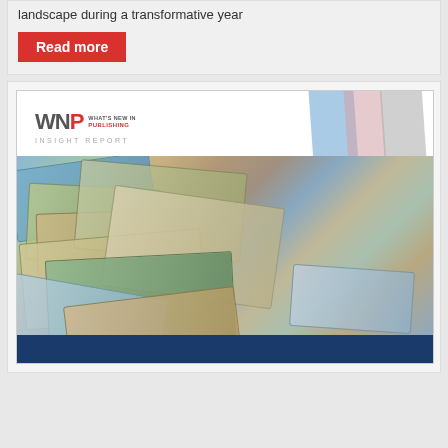landscape during a transformative year
Read more
[Figure (photo): Cover of What's New in Publishing Insight Report, showing a collage of international currency banknotes (various denominations and currencies) with a dark blue banner at the bottom. Decorative blue, pink, and gray diagonal bands are on the right side of the cover.]